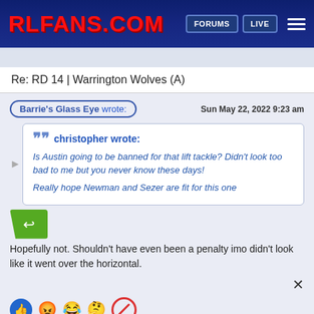RLFANS.COM | FORUMS | LIVE
Re: RD 14 | Warrington Wolves (A)
Barrie's Glass Eye wrote: Sun May 22, 2022 9:23 am
christopher wrote: Is Austin going to be banned for that lift tackle? Didn't look too bad to me but you never know these days! Really hope Newman and Sezer are fit for this one
Hopefully not. Shouldn't have even been a penalty imo didn't look like it went over the horizontal.